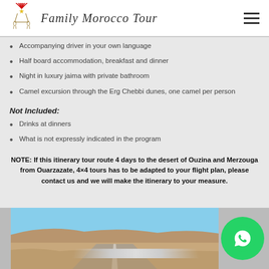Family Morocco Tour
Accompanying driver in your own language
Half board accommodation, breakfast and dinner
Night in luxury jaima with private bathroom
Camel excursion through the Erg Chebbi dunes, one camel per person
Not Included:
Drinks at dinners
What is not expressly indicated in the program
NOTE: If this itinerary tour route 4 days to the desert of Ouzina and Merzouga from Ouarzazate, 4×4 tours has to be adapted to your flight plan, please contact us and we will make the itinerary to your measure.
[Figure (photo): Desert landscape with road and arid terrain under blue sky]